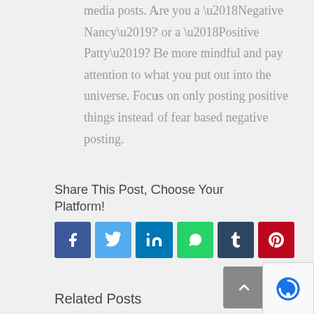media posts. Are you a ‘Negative Nancy’? or a ‘Positive Patty’? Be more mindful and pay attention to what you put out into the universe. Focus on only posting positive things instead of fear based negative posting.
Share This Post, Choose Your Platform!
[Figure (other): Social media share buttons: Facebook, Twitter, LinkedIn, WhatsApp, Tumblr, Pinterest]
Related Posts